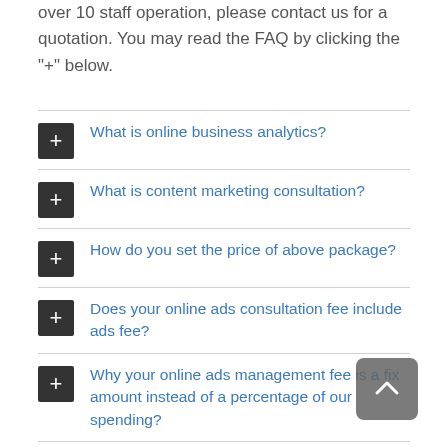over 10 staff operation, please contact us for a quotation. You may read the FAQ by clicking the "+" below.
What is online business analytics?
What is content marketing consultation?
How do you set the price of above package?
Does your online ads consultation fee include ads fee?
Why your online ads management fee is a fix amount instead of a percentage of our spending?
How many languages does your content marketing consultation service cover?
Why hire you for the doing digital marketing?